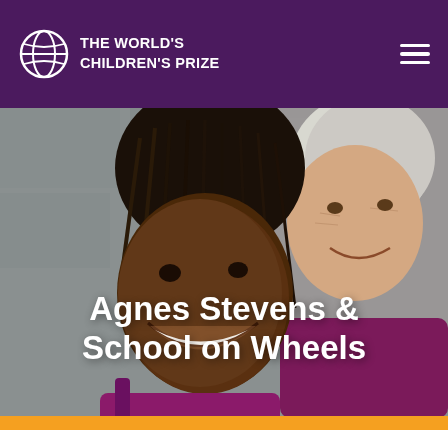THE WORLD'S CHILDREN'S PRIZE
[Figure (photo): A smiling young Black girl with braided hair cheek-to-cheek with a smiling elderly white woman with short silver hair, both wearing purple/magenta clothing, against a stone wall background.]
Agnes Stevens & School on Wheels